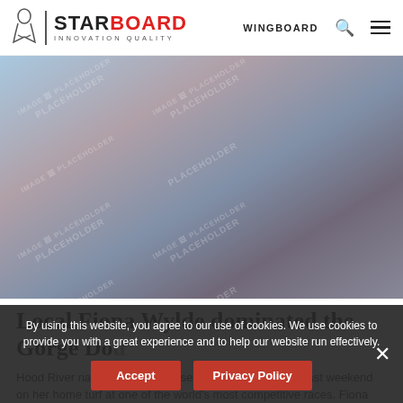STARBOARD INNOVATION QUALITY | WINGBOARD
[Figure (photo): Hero image placeholder with blurred gradient background and repeated IMAGE PLACEHOLDER watermarks]
Local Fiona Wylde dominated the Gorge Doubles
Hood River native Fiona Wylde secured a major victory last weekend on her home turf at one of the world's most competitive races. Fiona put her local knowledge to work and
By using this website, you agree to our use of cookies. We use cookies to provide you with a great experience and to help our website run effectively.